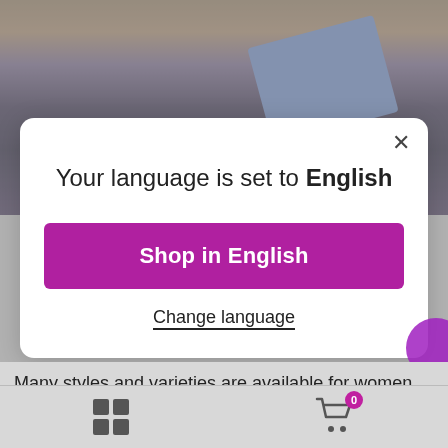[Figure (photo): Person wearing dark blue abaya/robe holding a blue book/folder, building in background]
Your language is set to English
Shop in English
Change language
Many styles and varieties are available for women who look wear the Hijab at parties and other functions. The classes are very colourful and bright, and they match the modern trends